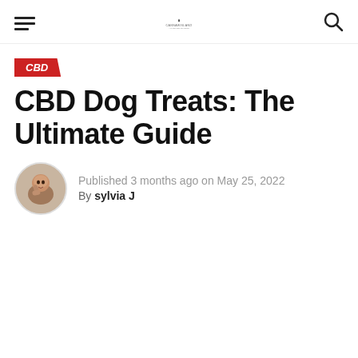CBD Dog Treats: The Ultimate Guide — site header with hamburger menu, logo, and search icon
CBD
CBD Dog Treats: The Ultimate Guide
Published 3 months ago on May 25, 2022
By sylvia J